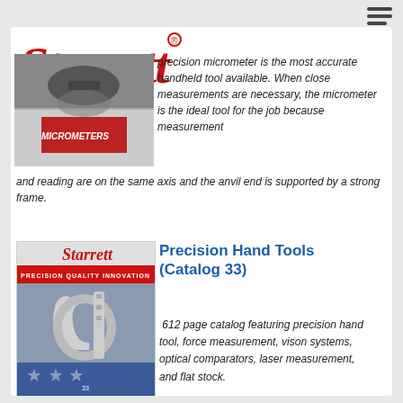[Figure (logo): Starrett logo in red italic serif font with registered trademark symbol]
[Figure (photo): Small product image showing micrometers catalog cover with person holding measurement tool]
precision micrometer is the most accurate handheld tool available. When close measurements are necessary, the micrometer is the ideal tool for the job because measurement and reading are on the same axis and the anvil end is supported by a strong frame.
[Figure (photo): Starrett Precision Quality Innovation catalog cover (Catalog 33) showing precision hand tools including a micrometer and C-clamp style tool]
Precision Hand Tools (Catalog 33)
612 page catalog featuring precision hand tool, force measurement, vison systems, optical comparators, laser measurement, and flat stock.